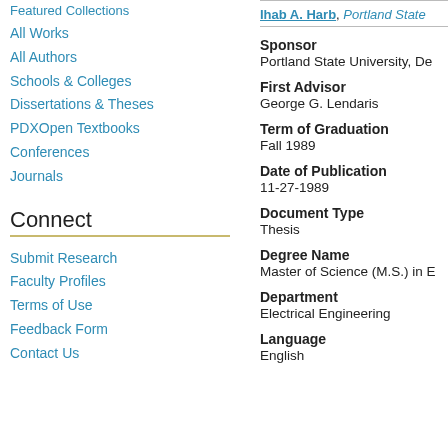Featured Collections
All Works
All Authors
Schools & Colleges
Dissertations & Theses
PDXOpen Textbooks
Conferences
Journals
Connect
Submit Research
Faculty Profiles
Terms of Use
Feedback Form
Contact Us
Ihab A. Harb, Portland State
Sponsor
Portland State University, De
First Advisor
George G. Lendaris
Term of Graduation
Fall 1989
Date of Publication
11-27-1989
Document Type
Thesis
Degree Name
Master of Science (M.S.) in E
Department
Electrical Engineering
Language
English